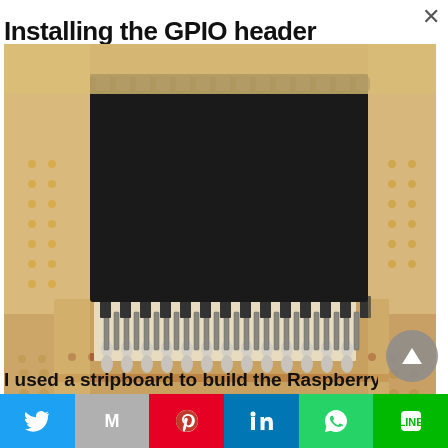Installing the GPIO header
[Figure (photo): Close-up photo of a 40-pin GPIO female header connector placed on a stripboard/perfboard, showing the black plastic body with two rows of metal pins at the bottom, mounted on brown copper stripboard]
I used a stripboard to build the Raspberry Pi
Social sharing bar: Twitter, Gmail, Pinterest, LinkedIn, WhatsApp, Line